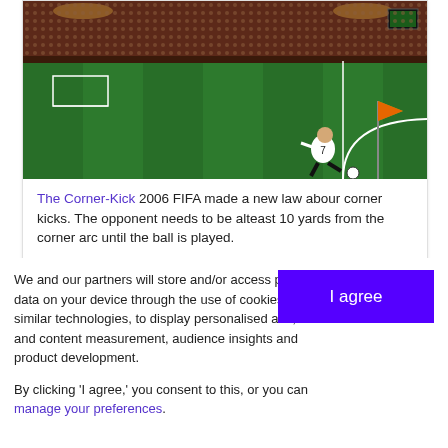[Figure (photo): Football/soccer player wearing number 7 white jersey taking a corner kick on a green pitch, stadium with crowd in background, yellow corner flag visible, dark sky]
The Corner-Kick 2006 FIFA made a new law abour corner kicks. The opponent needs to be alteast 10 yards from the corner arc until the ball is played.
We and our partners will store and/or access personal data on your device through the use of cookies and similar technologies, to display personalised ads, for ad and content measurement, audience insights and product development.
By clicking 'I agree,' you consent to this, or you can manage your preferences.